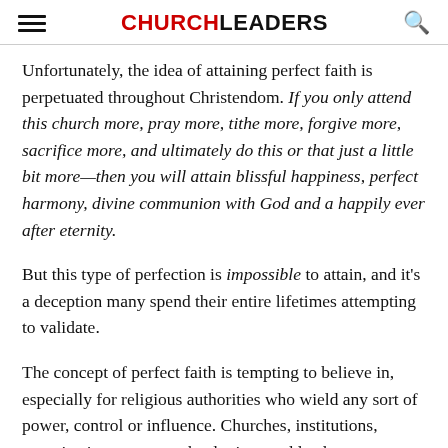CHURCHLEADERS
Unfortunately, the idea of attaining perfect faith is perpetuated throughout Christendom. If you only attend this church more, pray more, tithe more, forgive more, sacrifice more, and ultimately do this or that just a little bit more—then you will attain blissful happiness, perfect harmony, divine communion with God and a happily ever after eternity.
But this type of perfection is impossible to attain, and it's a deception many spend their entire lifetimes attempting to validate.
The concept of perfect faith is tempting to believe in, especially for religious authorities who wield any sort of power, control or influence. Churches, institutions, organizations, pastors, theologians and leaders want us to